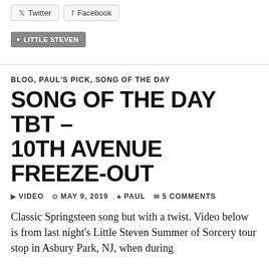[Figure (other): Social share buttons for Twitter and Facebook]
• LITTLE STEVEN
BLOG, PAUL'S PICK, SONG OF THE DAY
SONG OF THE DAY TBT – 10TH AVENUE FREEZE-OUT
▶ VIDEO  ⊙ MAY 9, 2019  ♣ PAUL  ✉ 5 COMMENTS
Classic Springsteen song but with a twist.  Video below is from last night's Little Steven Summer of Sorcery tour stop in Asbury Park, NJ, when during